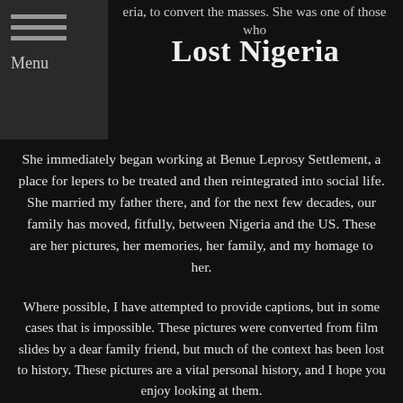eria, to convert the masses. She was one of those who
Lost Nigeria
She immediately began working at Benue Leprosy Settlement, a place for lepers to be treated and then reintegrated into social life. She married my father there, and for the next few decades, our family has moved, fitfully, between Nigeria and the US. These are her pictures, her memories, her family, and my homage to her.
Where possible, I have attempted to provide captions, but in some cases that is impossible. These pictures were converted from film slides by a dear family friend, but much of the context has been lost to history. These pictures are a vital personal history, and I hope you enjoy looking at them.